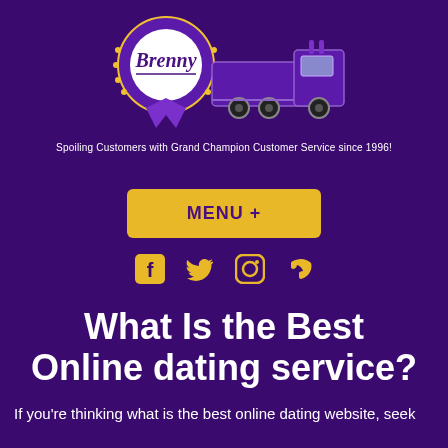[Figure (logo): Brenny logo with a purple ribbon/award badge and a semi-truck illustration, with 'Brenny' text in cursive]
Spoiling Customers with Grand Champion Customer Service since 1996!
MENU +
[Figure (infographic): Social media icons row: Facebook, Twitter, Instagram, and phone icons in gold/yellow color]
What Is the Best Online dating service?
If you're thinking what is the best online dating website, seek